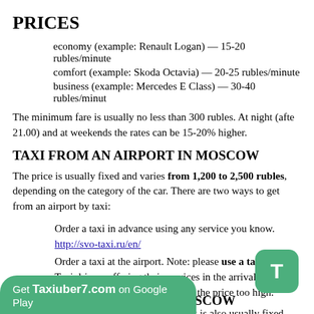PRICES
economy (example: Renault Logan) — 15-20 rubles/minute
comfort (example: Skoda Octavia) — 20-25 rubles/minute
business (example: Mercedes E Class) — 30-40 rubles/minute
The minimum fare is usually no less than 300 rubles. At night (after 21.00) and at weekends the rates can be 15-20% higher.
TAXI FROM AN AIRPORT IN MOSCOW
The price is usually fixed and varies from 1,200 to 2,500 rubles, depending on the category of the car. There are two ways to get from an airport by taxi:
Order a taxi in advance using any service you know. http://svo-taxi.ru/en/
Order a taxi at the airport. Note: please use a taxi desk! Taxi drivers offering their services in the arrival hall may not have a taxi license or may set the price too high.
The cost of a ride from the city to an airport is also usually fixed.
TAXI FROM A HOTEL IN MOSCOW